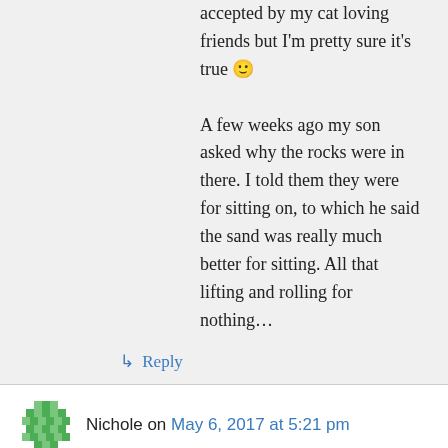accepted by my cat loving friends but I'm pretty sure it's true 🙂 A few weeks ago my son asked why the rocks were in there. I told them they were for sitting on, to which he said the sand was really much better for sitting. All that lifting and rolling for nothing…
↳ Reply
Nichole on May 6, 2017 at 5:21 pm
What a great sandbox! I love your creativity! We are on a tight budget and wood is expensive! Although we have bricks already! A question, did you use any barrier on the bottom and sides to keep the dirt from falling in? Thanks!